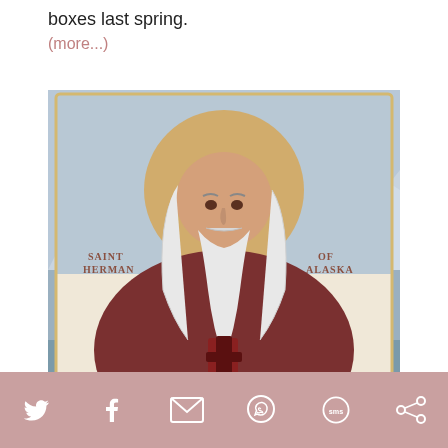boxes last spring.
(more...)
[Figure (photo): Orthodox Christian icon of Saint Herman of Alaska, depicted with white hair and beard, wearing a dark robe with a cross pendant, gold halo behind his head, Alaskan landscape with mountains and water in the background. Text on the icon reads 'SAINT HERMAN' on the left and 'OF ALASKA' on the right.]
Social share icons: Twitter, Facebook, Email, WhatsApp, SMS, Other